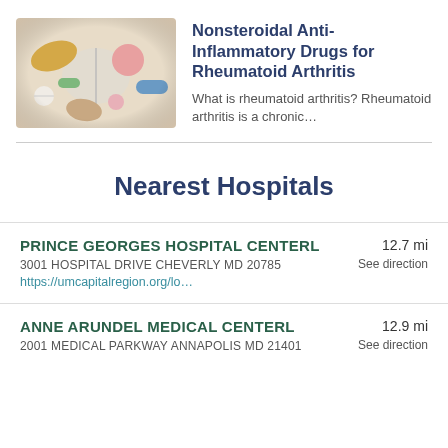[Figure (photo): Close-up photo of various colorful pills and capsules — yellow, pink, blue, white — scattered together]
Nonsteroidal Anti-Inflammatory Drugs for Rheumatoid Arthritis
What is rheumatoid arthritis? Rheumatoid arthritis is a chronic…
Nearest Hospitals
PRINCE GEORGES HOSPITAL CENTERL
3001 HOSPITAL DRIVE CHEVERLY MD 20785
https://umcapitalregion.org/lo…
12.7 mi
See direction
ANNE ARUNDEL MEDICAL CENTERL
2001 MEDICAL PARKWAY ANNAPOLIS MD 21401
12.9 mi
See direction